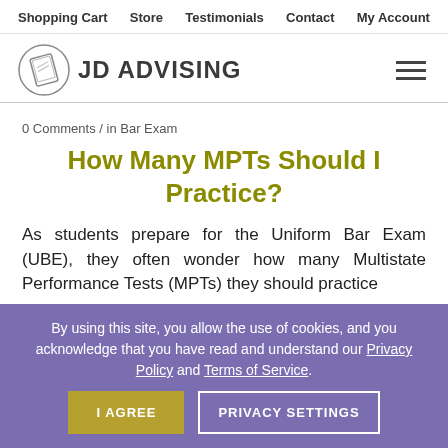Shopping Cart   Store   Testimonials   Contact   My Account
[Figure (logo): JD Advising logo with diploma icon and text 'JD ADVISING']
0 Comments / in Bar Exam
How Many MPTs Should I Practice?
As students prepare for the Uniform Bar Exam (UBE), they often wonder how many Multistate Performance Tests (MPTs) they should practice
By using this site, you allow the use of cookies, and you acknowledge that you have read and understand our Privacy Policy and Terms of Service.
I AGREE   PRIVACY SETTINGS